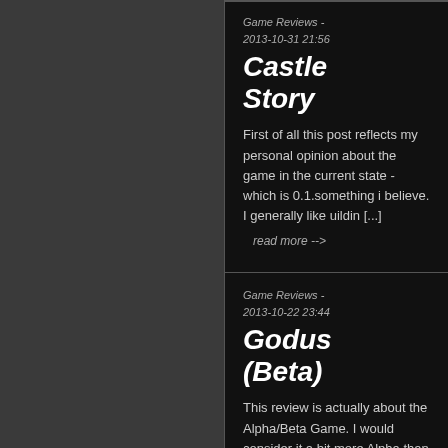Game Reviews - 2013-10-31 21:56
Castle Story
First of all this post reflects my personal opinion about the game in the current state - which is 0.1.something i believe. I generally like uildin [...]
read more -->
Game Reviews - 2013-10-22 23:44
Godus (Beta)
This review is actually about the Alpha/Beta Game. I would consider it a bit more Alpha than Beta, but actually it is not that important how